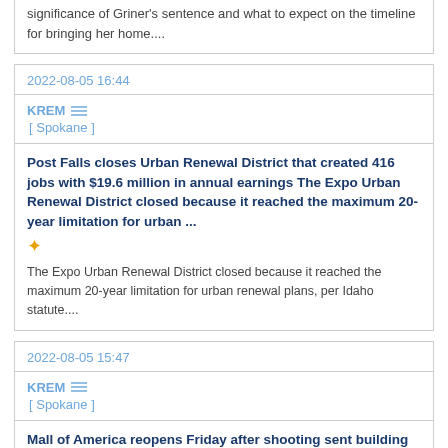significance of Griner's sentence and what to expect on the timeline for bringing her home....
2022-08-05 16:44
KREM [ Spokane ]
Post Falls closes Urban Renewal District that created 416 jobs with $19.6 million in annual earnings The Expo Urban Renewal District closed because it reached the maximum 20-year limitation for urban ...
The Expo Urban Renewal District closed because it reached the maximum 20-year limitation for urban renewal plans, per Idaho statute....
2022-08-05 15:47
KREM [ Spokane ]
Mall of America reopens Friday after shooting sent building into lockdown Bloomington Police are still looking for the people